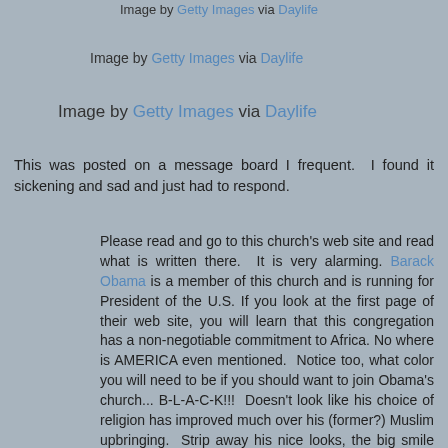Image by Getty Images via Daylife
Image by Getty Images via Daylife
Image by Getty Images via Daylife
This was posted on a message board I frequent.  I found it sickening and sad and just had to respond.
Please read and go to this church's web site and read what is written there.  It is very alarming.  Barack Obama is a member of this church and is running for President of the U.S. If you look at the first page of their web site, you will learn that this congregation has a non-negotiable commitment to Africa. No where is AMERICA even mentioned.  Notice too, what color you will need to be if you should want to join Obama's church... B-L-A-C-K!!!  Doesn't look like his choice of religion has improved much over his (former?) Muslim upbringing.  Strip away his nice looks, the big smile and smooth talk and what do you get?  Certainly a racist, as plainly defined by the stated